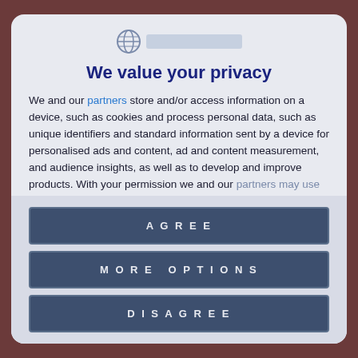[Figure (logo): Website logo with globe icon and blurred/redacted text bar]
We value your privacy
We and our partners store and/or access information on a device, such as cookies and process personal data, such as unique identifiers and standard information sent by a device for personalised ads and content, ad and content measurement, and audience insights, as well as to develop and improve products. With your permission we and our partners may use precise geolocation data and identification through
AGREE
MORE OPTIONS
DISAGREE